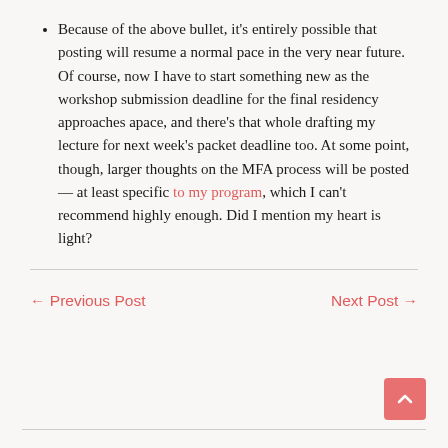Because of the above bullet, it's entirely possible that posting will resume a normal pace in the very near future. Of course, now I have to start something new as the workshop submission deadline for the final residency approaches apace, and there's that whole drafting my lecture for next week's packet deadline too. At some point, though, larger thoughts on the MFA process will be posted — at least specific to my program, which I can't recommend highly enough. Did I mention my heart is light?
← Previous Post   Next Post →